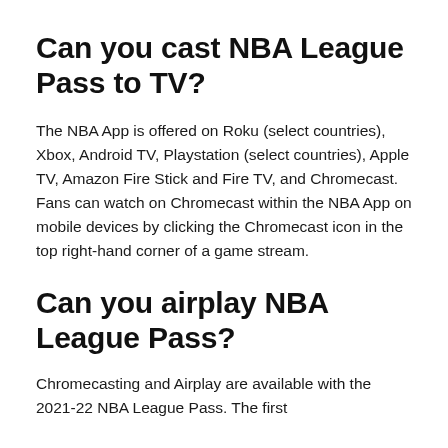Can you cast NBA League Pass to TV?
The NBA App is offered on Roku (select countries), Xbox, Android TV, Playstation (select countries), Apple TV, Amazon Fire Stick and Fire TV, and Chromecast. Fans can watch on Chromecast within the NBA App on mobile devices by clicking the Chromecast icon in the top right-hand corner of a game stream.
Can you airplay NBA League Pass?
Chromecasting and Airplay are available with the 2021-22 NBA League Pass. The first